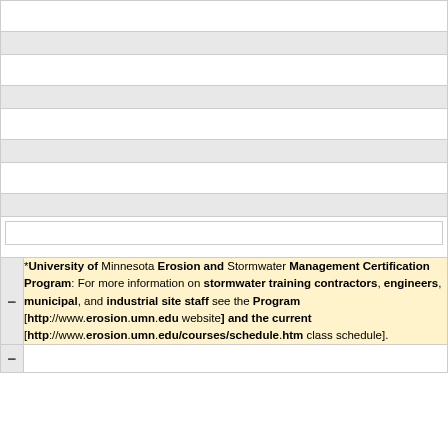| (empty row 1) |
| (gray row 1) |
| (empty row 2) |
| (gray row 2) |
| (empty row 3) |
| (gray row 3) |
| (empty row 4) |
| (gray row 4) |
| (row with inner box) |
| – | *University of Minnesota Erosion and Stormwater Management Certification Program: For more information on stormwater training contractors, engineers, municipal, and industrial site staff see the Program [http://www.erosion.umn.edu website] and the current [http://www.erosion.umn.edu/courses/schedule.htm class schedule]. |
| – | (empty) |
*University of Minnesota Erosion and Stormwater Management Certification Program: For more information on stormwater training contractors, engineers, municipal, and industrial site staff see the Program [http://www.erosion.umn.edu website] and the current [http://www.erosion.umn.edu/courses/schedule.htm class schedule].